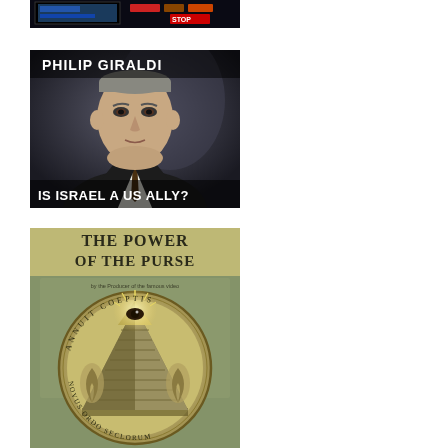[Figure (screenshot): Partial view of a dark-themed image with colorful interface elements, appears to be a gaming or media screenshot, cropped at the top]
[Figure (photo): Photo of Philip Giraldi - an older man in a dark suit with text overlay 'PHILIP GIRALDI' at top and 'IS ISRAEL A US ALLY?' at bottom]
[Figure (illustration): Book cover titled 'THE POWER OF THE PURSE' featuring an illustration of the all-seeing eye pyramid symbol on a dollar bill, with Latin text 'ANNUIT COEPTIS', 'NOVUS ORDO SECLORUM']